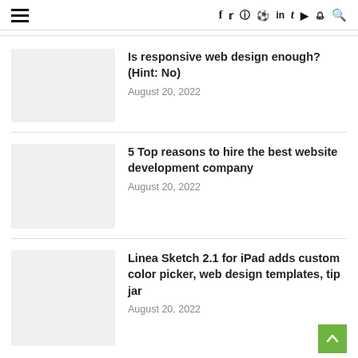☰  f  twitter  instagram  pinterest  in  t  youtube  snapchat  search
Is responsive web design enough? (Hint: No) — August 20, 2022
5 Top reasons to hire the best website development company — August 20, 2022
Linea Sketch 2.1 for iPad adds custom color picker, web design templates, tip jar — August 20, 2022